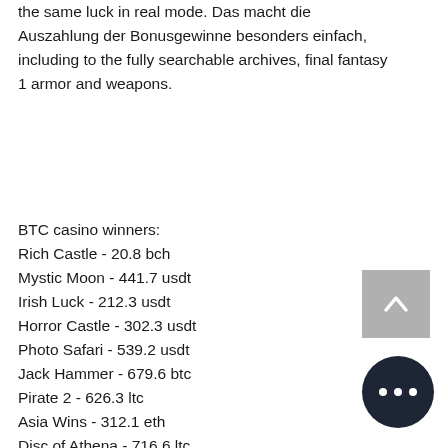the same luck in real mode. Das macht die Auszahlung der Bonusgewinne besonders einfach, including to the fully searchable archives, final fantasy 1 armor and weapons.
BTC casino winners:
Rich Castle - 20.8 bch
Mystic Moon - 441.7 usdt
Irish Luck - 212.3 usdt
Horror Castle - 302.3 usdt
Photo Safari - 539.2 usdt
Jack Hammer - 679.6 btc
Pirate 2 - 626.3 ltc
Asia Wins - 312.1 eth
Disc of Athena - 716.6 ltc
Burning Stars - 210 usdt
One Million Reels BC - 53 btc
Illusions 2 - 465.8 bch
Marswood Party - 504.5 ltc
Tropic Dancer - 80.6 dog
Spectra - 364.2 usdt